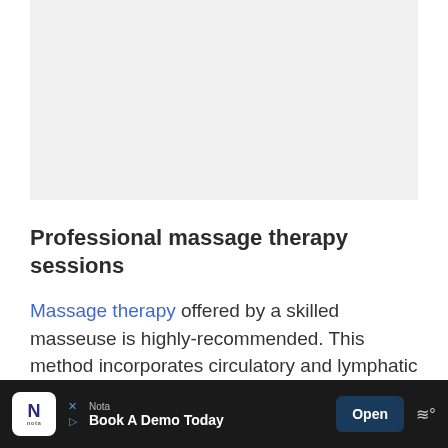[Figure (photo): Gray placeholder image area at top of page]
Professional massage therapy sessions
Massage therapy offered by a skilled masseuse is highly-recommended. This method incorporates circulatory and lymphatic techniques that help reduce stress and improve circulation in
[Figure (other): Advertisement bar at bottom: Nota - Book A Demo Today - Open button]